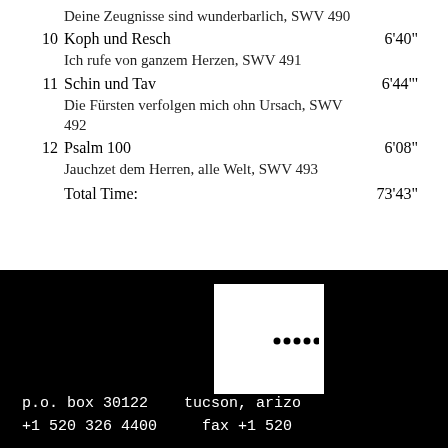Deine Zeugnisse sind wunderbarlich, SWV 490
10 Koph und Resch  6'40"
Ich rufe von ganzem Herzen, SWV 491
11 Schin und Tav  6'44"'
Die Fürsten verfolgen mich ohn Ursach, SWV 492
12 Psalm 100  6'08"
Jauchzet dem Herren, alle Welt, SWV 493
Total Time:  73'43"
[Figure (logo): Crescent moon logo with dots on black background]
p.o. box 30122   tucson, arizo
+1 520 326 4400     fax +1 520